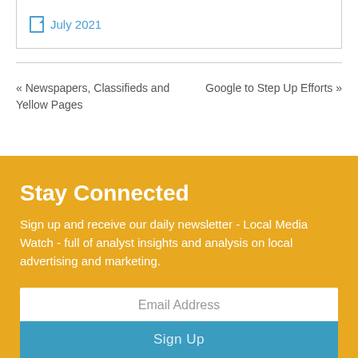July 2021
« Newspapers, Classifieds and Yellow Pages
Google to Step Up Efforts »
Stay Connected
Sign up and receive our daily newsletter - Local Media Watch - full of analyst insights and analysis on local advertising and marketing.
Email Address
Sign Up